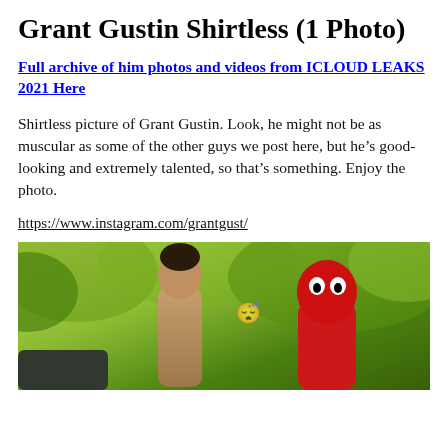Grant Gustin Shirtless (1 Photo)
Full archive of him photos and videos from ICLOUD LEAKS 2021 Here
Shirtless picture of Grant Gustin. Look, he might not be as muscular as some of the other guys we post here, but he’s good-looking and extremely talented, so that’s something. Enjoy the photo.
https://www.instagram.com/grantgust/
[Figure (photo): Shirtless man with dark hair smiling outdoors surrounded by greenery, next to a person in a red mascot costume]